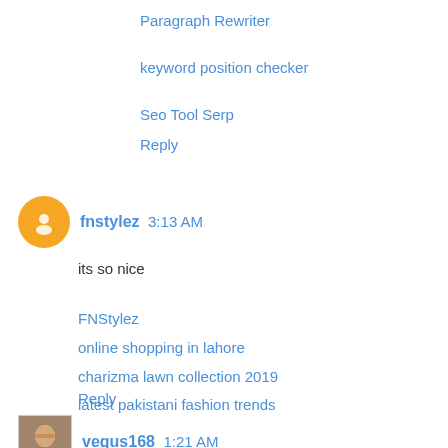Paragraph Rewriter
keyword position checker
Seo Tool Serp
Reply
fnstylez 3:13 AM
its so nice
FNStylez
online shopping in lahore
charizma lawn collection 2019
latest pakistani fashion trends
Reply
vegus168 1:21 AM
Thanks alot for you;re Information sir